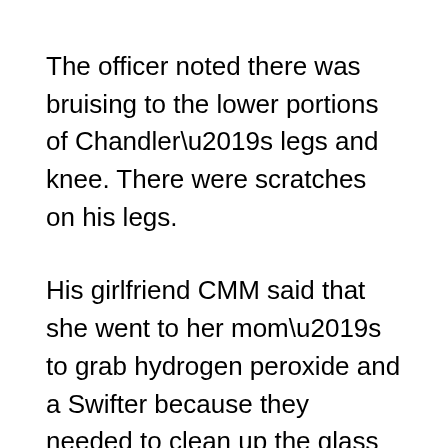The officer noted there was bruising to the lower portions of Chandler’s legs and knee. There were scratches on his legs.
His girlfriend CMM said that she went to her mom’s to grab hydrogen peroxide and a Swifter because they needed to clean up the glass Chandler broke on the fireplace. There was one glass pane which was broken. She didn’t see a lot of blood.
She said the house smelled like dogs. She said Chandler used to be on a shooting team in college and confirmed that Chandler had a gun.